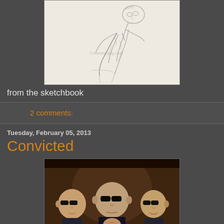[Figure (illustration): Pencil sketch of a man leaning forward, drawn in graphite. Watermark reads 'drawingalog.com']
from the sketchbook
2 comments:
Tuesday, February 05, 2013
Convicted
[Figure (illustration): Digital painting of three menacing bald figures wearing sunglasses in a dark, dramatic scene]